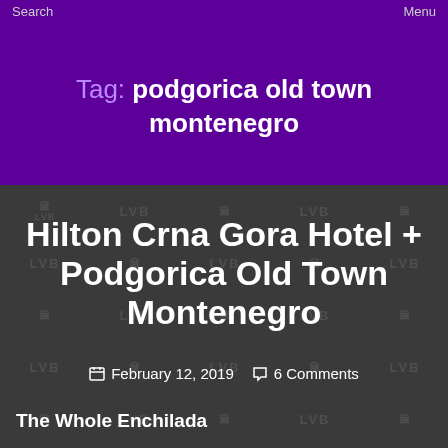Search    Menu
Tag: podgorica old town montenegro
[Figure (illustration): Dark gray card with repeating LVB and building watermark pattern background]
Hilton Crna Gora Hotel + Podgorica Old Town Montenegro
February 12, 2019   6 Comments
The Whole Enchilada